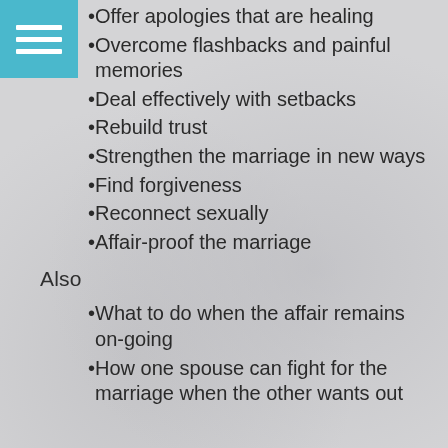Offer apologies that are healing
Overcome flashbacks and painful memories
Deal effectively with setbacks
Rebuild trust
Strengthen the marriage in new ways
Find forgiveness
Reconnect sexually
Affair-proof the marriage
Also
What to do when the affair remains on-going
How one spouse can fight for the marriage when the other wants out